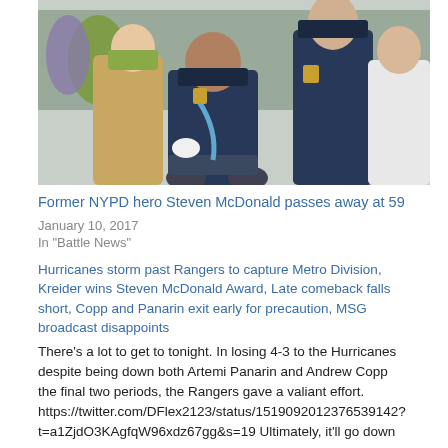[Figure (photo): Group photo of people including an NYPD officer in a wheelchair in police uniform, flanked by a woman in a tan coat and a tall male NYPD officer in uniform, outdoors at what appears to be a public event.]
Former NYPD hero Steven McDonald passes away at 59
January 10, 2017
In "Battle News"
Hurricanes storm past Rangers to capture Metro Division, Kreider wins Steven McDonald Award, Late comeback falls short, Copp and Panarin exit early for precaution, MSG broadcast disappoints
There's a lot to get to tonight. In losing 4-3 to the Hurricanes despite being down both Artemi Panarin and Andrew Copp the final two periods, the Rangers gave a valiant effort. https://twitter.com/DFlex2123/status/1519092012376539142?t=a1ZjdO3KAgfqW96xdz67gg&s=19 Ultimately, it'll go down as a one-
April 27, 2022
In "NYRangers"